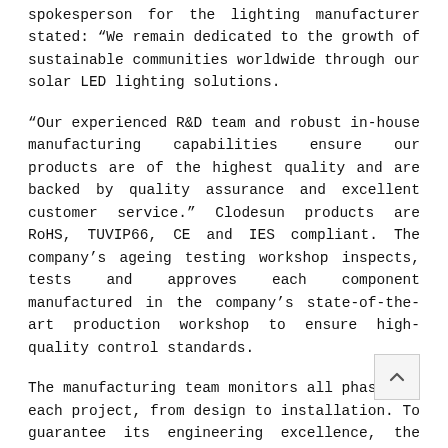spokesperson for the lighting manufacturer stated: “We remain dedicated to the growth of sustainable communities worldwide through our solar LED lighting solutions.
“Our experienced R&D team and robust in-house manufacturing capabilities ensure our products are of the highest quality and are backed by quality assurance and excellent customer service.” Clodesun products are RoHS, TUVIP66, CE and IES compliant. The company’s ageing testing workshop inspects, tests and approves each component manufactured in the company’s state-of-the-art production workshop to ensure high-quality control standards.
The manufacturing team monitors all phases of each project, from design to installation. To guarantee its engineering excellence, the company provides clients with a five-year warranty and service contract for its products. Included in Clodesun’s solar street lighting solutions are the following components: